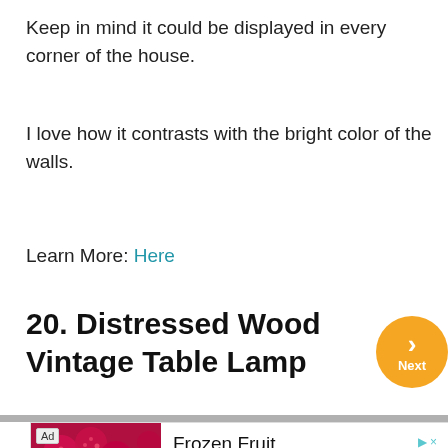Keep in mind it could be displayed in every corner of the house.
I love how it contrasts with the bright color of the walls.
Learn More: Here
20. Distressed Wood Vintage Table Lamp
[Figure (other): Orange circular Next button with chevron arrow and 'Next' label]
[Figure (other): Advertisement banner for Frozen Fruit / FRUIT B2B - Fruit Puree showing raspberries image with Open button]